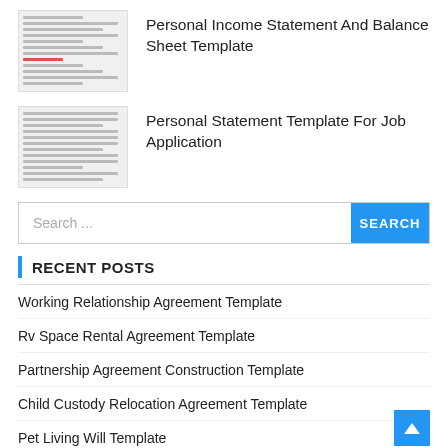[Figure (illustration): Thumbnail image of a Personal Income Statement And Balance Sheet Template document]
Personal Income Statement And Balance Sheet Template
[Figure (illustration): Thumbnail image of a Personal Statement Template For Job Application document]
Personal Statement Template For Job Application
Search ...
RECENT POSTS
Working Relationship Agreement Template
Rv Space Rental Agreement Template
Partnership Agreement Construction Template
Child Custody Relocation Agreement Template
Pet Living Will Template